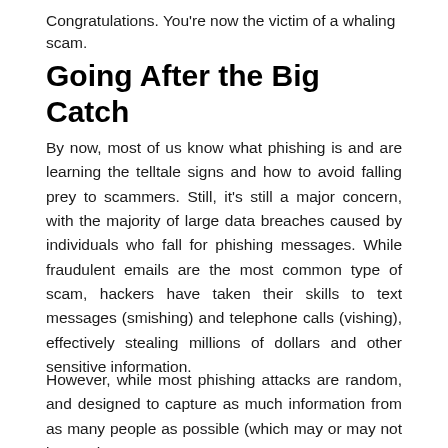Congratulations. You're now the victim of a whaling scam.
Going After the Big Catch
By now, most of us know what phishing is and are learning the telltale signs and how to avoid falling prey to scammers. Still, it's still a major concern, with the majority of large data breaches caused by individuals who fall for phishing messages. While fraudulent emails are the most common type of scam, hackers have taken their skills to text messages (smishing) and telephone calls (vishing), effectively stealing millions of dollars and other sensitive information.
However, while most phishing attacks are random, and designed to capture as much information from as many people as possible (which may or may not be worth